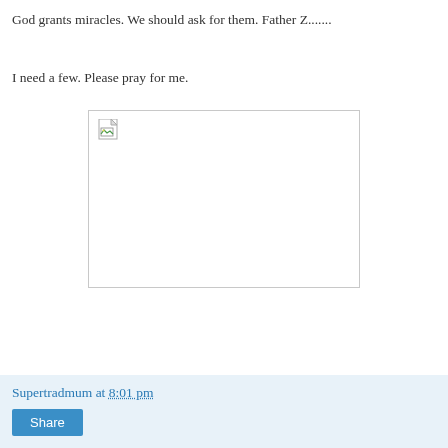God grants miracles. We should ask for them. Father Z.......
I need a few. Please pray for me.
[Figure (photo): Broken/missing image placeholder with small image icon in top-left corner, inside a light gray bordered rectangle]
Supertradmum at 8:01 pm
Share